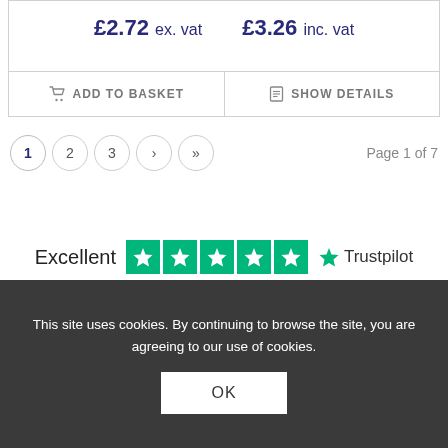£2.72 ex. vat   £3.26 inc. vat
ADD TO BASKET   SHOW DETAILS
1  2  3  ›  »   Page 1 of 7
[Figure (logo): Trustpilot rating: Excellent with 5 green stars and Trustpilot logo]
This site uses cookies. By continuing to browse the site, you are agreeing to our use of cookies. OK